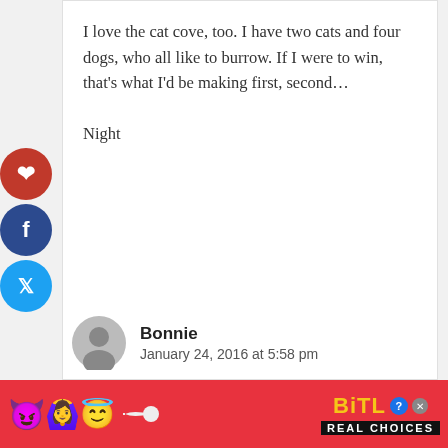I love the cat cove, too. I have two cats and four dogs, who all like to burrow. If I were to win, that's what I'd be making first, second…
Night
Reply
Bonnie
January 24, 2016 at 5:58 pm
[Figure (infographic): BitLife advertisement banner with emoji characters (devil, woman with raised hands, angel face) and a sperm icon next to BitLife logo text and 'REAL CHOICES' tagline]